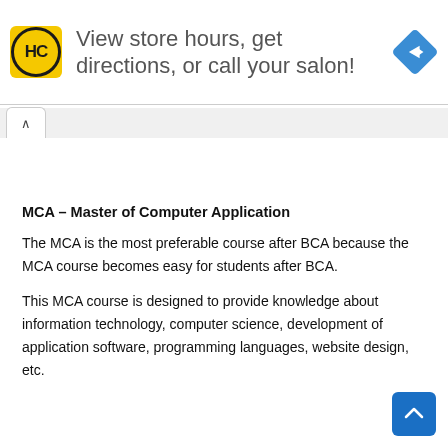[Figure (screenshot): Advertisement banner with HC logo (Hair Club), text 'View store hours, get directions, or call your salon!', and a blue diamond navigation arrow icon on the right.]
MCA – Master of Computer Application
The MCA is the most preferable course after BCA because the MCA course becomes easy for students after BCA.
This MCA course is designed to provide knowledge about information technology, computer science, development of application software, programming languages, website design, etc.